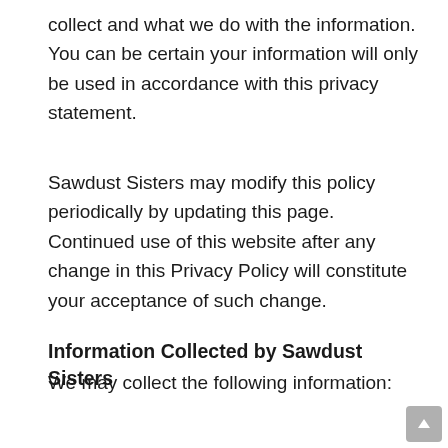collect and what we do with the information. You can be certain your information will only be used in accordance with this privacy statement.
Sawdust Sisters may modify this policy periodically by updating this page. Continued use of this website after any change in this Privacy Policy will constitute your acceptance of such change.
Information Collected by Sawdust Sisters
We may collect the following information:
First name